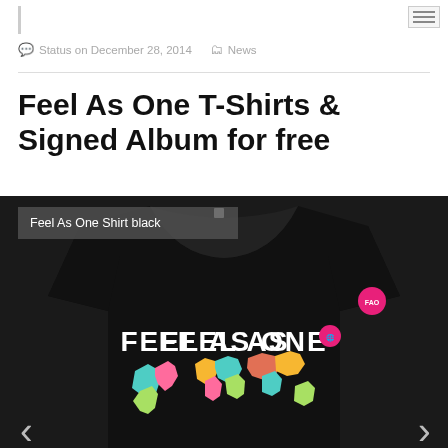Status on December 28, 2014   News
Feel As One T-Shirts & Signed Album for free
[Figure (photo): Black t-shirt with 'FEEL AS ONE' text and colorful world map graphic, with caption overlay 'Feel As One Shirt black']